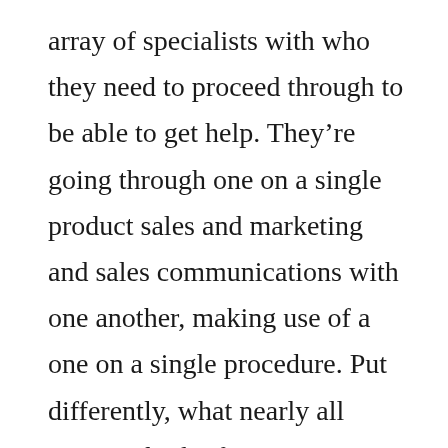array of specialists with who they need to proceed through to be able to get help. They're going through one on a single product sales and marketing and sales communications with one another, making use of a one on a single procedure. Put differently, what nearly all women think of as seeing advice could be, an answer is got by you from anyone who has experienced your footwear or shoes prior to. And, because so many individuals are people, many of us doesn't always make inquiries to